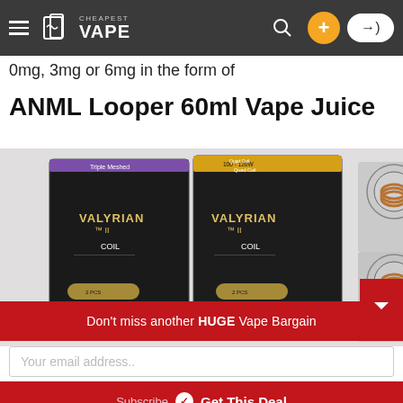Cheapest Vape - navigation bar
0mg, 3mg or 6mg in the form of
ANML Looper 60ml Vape Juice
[Figure (photo): Product photo showing Valyrian II coil boxes (Triple Meshed and Quad Coil variants) alongside exposed vape coils with warning labels visible on the boxes.]
Don't miss another HUGE Vape Bargain
Your email address..
Subscribe
Get This Deal